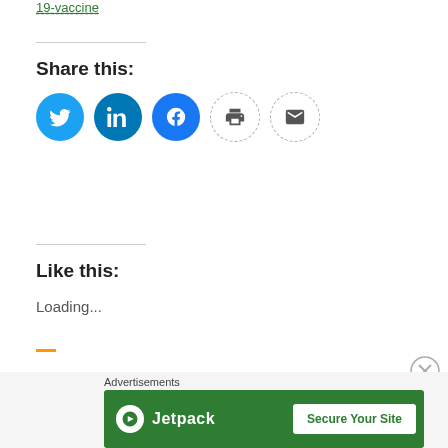19-vaccine
Share this:
[Figure (infographic): Social share buttons: Twitter (blue circle), LinkedIn (blue circle), Facebook (blue circle), Print (dashed circle), Email (dashed circle)]
Like this:
Loading...
Posted in Allergy and Infectious Diseases, CEOs of Biotech Companies, coronavirus, Development Process, Immunology, Infectious Disease Immunodiagnostics, Mechanisms, SARS-CoV-2, SARS-CoV-2, SARS-CoV-2 circulating variants, SARS-CoV-2 Viral Variants, Virology | Tagged Antibodies, COVID Vaccine, COVID-19 SARS-CoV-2, COVID-19 Treatment, National Institute of Allergy and Infectious Diseases (NIAID), NIH, vaccine adjuvant platforms, vaccine development | Leave a Comment
[Figure (infographic): Jetpack advertisement banner with 'Secure Your Site' button on green background]